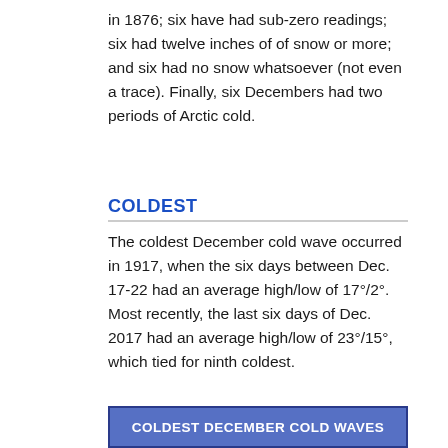in 1876; six have had sub-zero readings; six had twelve inches of of snow or more; and six had no snow whatsoever (not even a trace). Finally, six Decembers had two periods of Arctic cold.
COLDEST
The coldest December cold wave occurred in 1917, when the six days between Dec. 17-22 had an average high/low of 17°/2°.  Most recently, the last six days of Dec. 2017 had an average high/low of 23°/15°, which tied for ninth coldest.
| COLDEST DECEMBER COLD WAVES |
| --- |